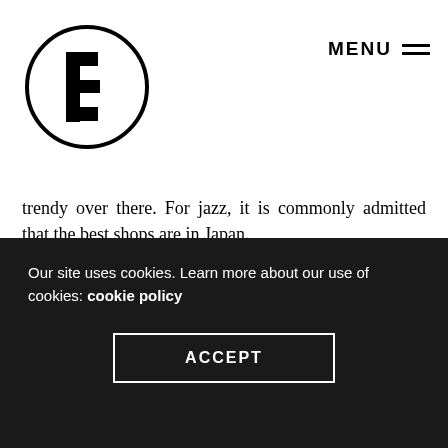MENU
[Figure (logo): Circular logo with stylized letter E inside a black circle outline]
trendy over there. For jazz, it is commonly admitted that the best shops are in Japan.
With reference to your boiler room session, you may be the most chill disk-spinner out there, we have to ask what is your headspace behind the decks and how do you go about with your selection for a mix?
Yeah, that boiler room session was special. I wanted
Our site uses cookies. Learn more about our use of cookies: cookie policy
ACCEPT